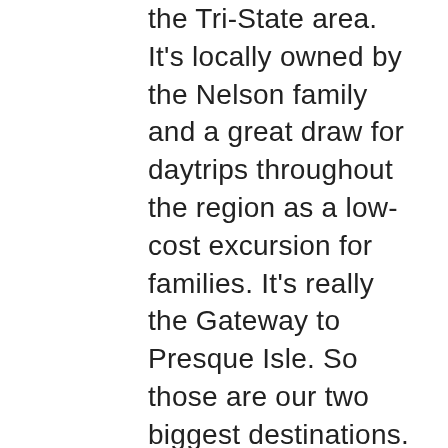the Tri-State area. It's locally owned by the Nelson family and a great draw for daytrips throughout the region as a low-cost excursion for families. It's really the Gateway to Presque Isle. So those are our two biggest destinations.
“In addition to that, we have an extensive park system with walking trails, and a BMX Park. We’re host to the Asbury Woods Nature Center in an old-growth forest, as well as the Tom Ridge Environmental Center – a state facility that does a lot of research for the Great Lakes. We really try to embrace the natural aspects of our community and also promote locally-